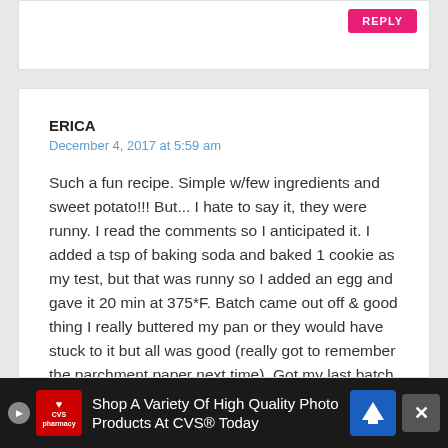REPLY
ERICA
December 4, 2017 at 5:59 am
Such a fun recipe. Simple w/few ingredients and sweet potato!!! But... I hate to say it, they were runny. I read the comments so I anticipated it. I added a tsp of baking soda and baked 1 cookie as my test, but that was runny so I added an egg and gave it 20 min at 375*F. Batch came out off & good thing I really buttered my pan or they would have stuck to it but all was good (really got to remember the parchment paper next time). Got my last batch in & gave it a splash of
Shop A Variety Of High Quality Photo Products At CVS® Today